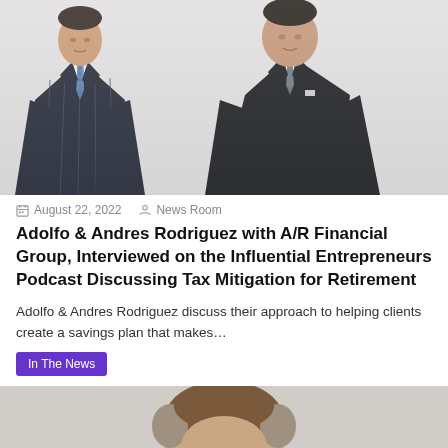[Figure (photo): Two men in business suits and ties posing together against a light grey background. Left man wears pinstripe dark suit with blue patterned tie, right man wears black suit with grey tie.]
August 22, 2022   News Room
Adolfo & Andres Rodriguez with A/R Financial Group, Interviewed on the Influential Entrepreneurs Podcast Discussing Tax Mitigation for Retirement
Adolfo & Andres Rodriguez discuss their approach to helping clients create a savings plan that makes…
In The News
[Figure (photo): Head and shoulders photo of a person with brown and grey hair against a light grey background, partially cropped.]